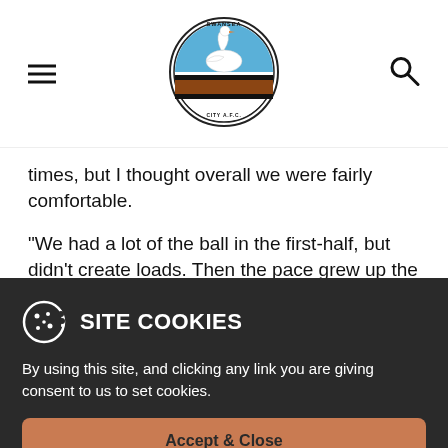[Figure (logo): Swansea City AFC circular badge logo with swan and blue/brown colors]
times, but I thought overall we were fairly comfortable.
“We had a lot of the ball in the first-half, but didn’t create loads. Then the pace grew up the
SITE COOKIES
By using this site, and clicking any link you are giving consent to us to set cookies.
Accept & Close
Find Out More